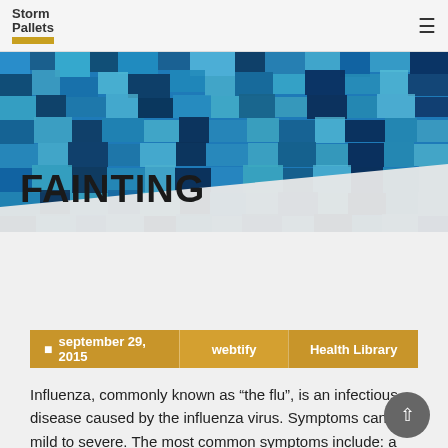Storm Pallets
[Figure (photo): Abstract blue/teal pixel mosaic hero banner image]
FAINTING
september 29, 2015   webtify   Health Library
Influenza, commonly known as “the flu”, is an infectious disease caused by the influenza virus. Symptoms can be mild to severe. The most common symptoms include: a high fever, runny nose, sore throat, muscle pains, headache, coughing, and feeling tired. These symptoms typically begin two days after exposure to the virus and most last less than a week. The cough, however, may last for more than two weeks. In